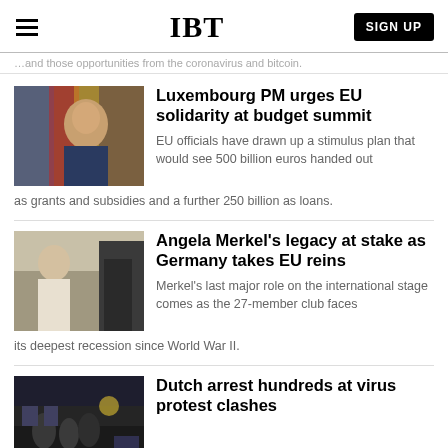IBT  SIGN UP
...and those opportunities from the coronavirus and bitcoin.
Luxembourg PM urges EU solidarity at budget summit
EU officials have drawn up a stimulus plan that would see 500 billion euros handed out as grants and subsidies and a further 250 billion as loans.
Angela Merkel’s legacy at stake as Germany takes EU reins
Merkel's last major role on the international stage comes as the 27-member club faces its deepest recession since World War II.
Dutch arrest hundreds at virus protest clashes
The Netherlands has been commended for